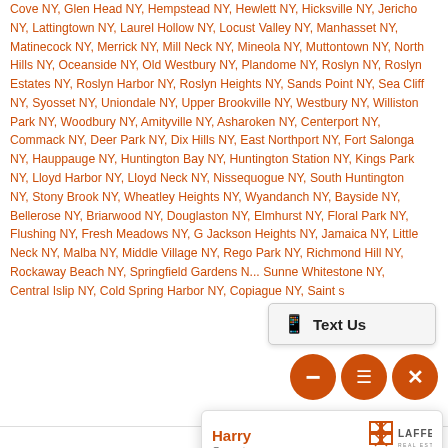Cove NY, Glen Head NY, Hempstead NY, Hewlett NY, Hicksville NY, Jericho NY, Lattingtown NY, Laurel Hollow NY, Locust Valley NY, Manhasset NY, Matinecock NY, Merrick NY, Mill Neck NY, Mineola NY, Muttontown NY, North Hills NY, Oceanside NY, Old Westbury NY, Plandome NY, Roslyn NY, Roslyn Estates NY, Roslyn Harbor NY, Roslyn Heights NY, Sands Point NY, Sea Cliff NY, Syosset NY, Uniondale NY, Upper Brookville NY, Westbury NY, Williston Park NY, Woodbury NY, Amityville NY, Asharoken NY, Centerport NY, Commack NY, Deer Park NY, Dix Hills NY, East Northport NY, Fort Salonga NY, Hauppauge NY, Huntington Bay NY, Huntington Station NY, Kings Park NY, Lloyd Harbor NY, Lloyd Neck NY, Nissequogue NY, South Huntington NY, Stony Brook NY, Wheatley Heights NY, Wyandanch NY, Bayside NY, Bellerose NY, Briarwood NY, Douglaston NY, Elmhurst NY, Floral Park NY, Flushing NY, Fresh Meadows NY, G... Jackson Heights NY, Jamaica NY, Little Neck NY, Malba NY, Middle Village NY, Rego Park NY, Richmond Hill NY, Rockaway Beach NY, Springfield Gardens N... Sunnyside NY, Whitestone NY, Central Islip NY, Cold Spring Harbor NY, Copiague NY, Saint... s ...
[Figure (screenshot): Text Us button with phone icon overlay in top right area]
[Figure (screenshot): Three orange circular FAB buttons (minus, menu, X) overlaid on page]
[Figure (screenshot): LiveAdmins chat panel with Harry the Operator, Laffey Real Estate logo, welcome message and text input]
Related Markets: Albertson, Amityville, Bayville, Bellerose, Bellmore, Briarwood, Island, Cold Spring Harbor, College P... East Hills, East Northport, East Willi... Fresh Meadows, Glen Cove, Glen Head... Hicksville, Huntington Bay, Huntington... Lattingtown, Laurel Hollow, Levittown... Island City, Malba, Manhasset, Matin... Nissequogue, North Hills, Northport... Village, Rego Park, Richmond Hill, R... Roslyn Harbor, Roslyn Heights, Saint... Springfield Gardens, Stony Brook, St... Wheatley Heights, Whitestone, Willis...